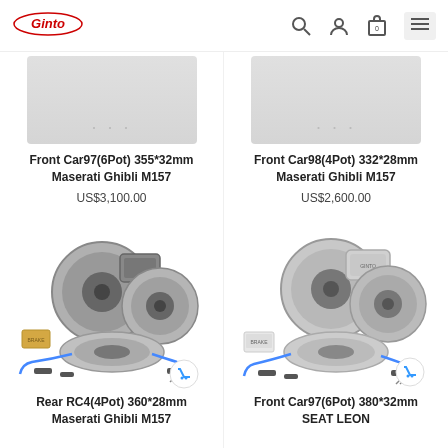Ginto logo, search icon, user icon, cart icon, menu icon
[Figure (photo): Product image for Front Car97(6Pot) 355*32mm Maserati Ghibli M157 brake kit (partially visible, top row)]
Front Car97(6Pot) 355*32mm
Maserati Ghibli M157
US$3,100.00
[Figure (photo): Product image for Front Car98(4Pot) 332*28mm Maserati Ghibli M157 brake kit (partially visible, top row)]
Front Car98(4Pot) 332*28mm
Maserati Ghibli M157
US$2,600.00
[Figure (photo): Brake kit product photo: Rear RC4(4Pot) 360*28mm Maserati Ghibli M157 — shows two rotors and caliper with brake lines and hardware]
Rear RC4(4Pot) 360*28mm
Maserati Ghibli M157
[Figure (photo): Brake kit product photo: Front Car97(6Pot) 380*32mm SEAT LEON — shows two rotors and caliper with brake lines and hardware]
Front Car97(6Pot) 380*32mm
SEAT LEON